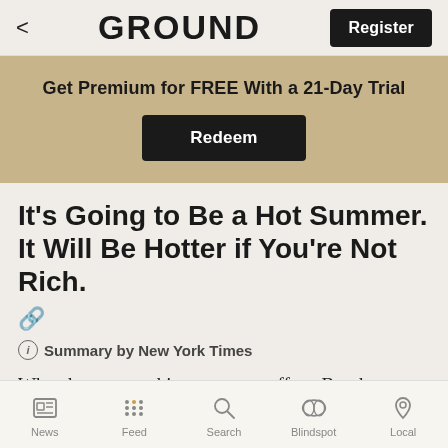< GROUND Register
Get Premium for FREE With a 21-Day Trial
Redeem
It’s Going to Be a Hot Summer. It Will Be Hotter if You’re Not Rich.
ⓘ Summary by New York Times
When heat waves hit, everyone suffers. But the
News  Feed  Search  Blindspot  Local